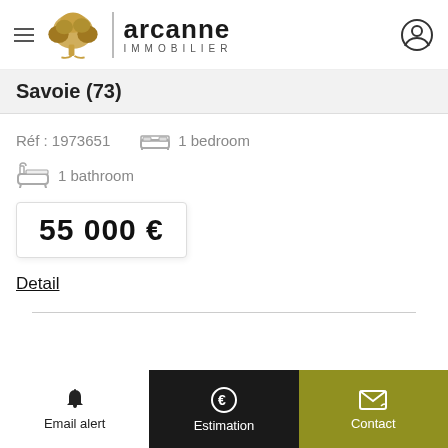[Figure (logo): Arcanne Immobilier logo with tree icon, brand name and hamburger menu]
Savoie (73)
Réf : 1973651    1 bedroom
1 bathroom
55 000 €
Detail
Email alert   Estimation   Contact